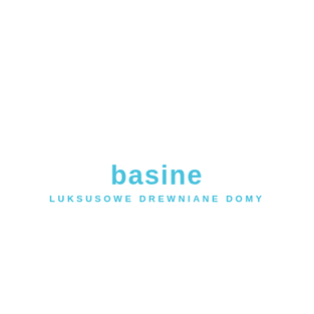[Figure (logo): Partially visible company logo text in light blue/cyan color reading 'basine' (cropped on left), with tagline 'LUKSUSOWE DREWNIANE DOMY' below in spaced cyan letters]
LUKSUSOWE DREWNIANE DOMY